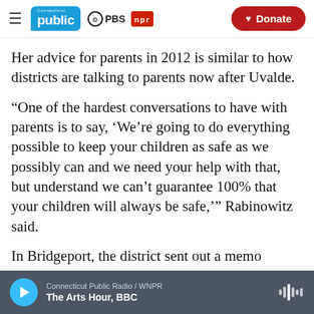Connecticut Public | PBS | NPR | Donate
Her advice for parents in 2012 is similar to how districts are talking to parents now after Uvalde.
“One of the hardest conversations to have with parents is to say, ‘We’re going to do everything possible to keep your children as safe as we possibly can and we need your help with that, but understand we can’t guarantee 100% that your children will always be safe,’” Rabinowitz said.
In Bridgeport, the district sent out a memo
Connecticut Public Radio / WNPR | The Arts Hour, BBC